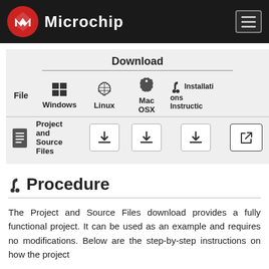Microchip
| File | Windows | Linux | Mac OSX | Installation Instructions |
| --- | --- | --- | --- | --- |
| Project and Source Files | [download] | [download] | [download] | [link] |
Procedure
The Project and Source Files download provides a fully functional project. It can be used as an example and requires no modifications. Below are the step-by-step instructions on how the project